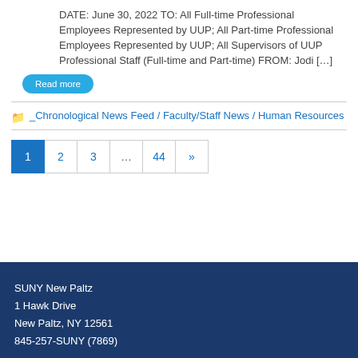DATE: June 30, 2022 TO: All Full-time Professional Employees Represented by UUP; All Part-time Professional Employees Represented by UUP; All Supervisors of UUP Professional Staff (Full-time and Part-time) FROM: Jodi […]
Read more
_Chronological News Feed / Faculty/Staff News / Human Resources
1 2 3 … 44 »
SUNY New Paltz
1 Hawk Drive
New Paltz, NY 12561
845-257-SUNY (7869)